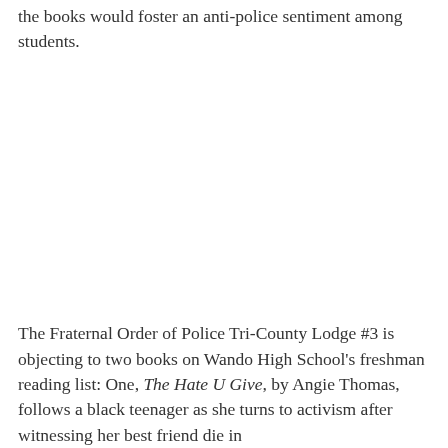the books would foster an anti-police sentiment among students.
The Fraternal Order of Police Tri-County Lodge #3 is objecting to two books on Wando High School's freshman reading list: One, The Hate U Give, by Angie Thomas, follows a black teenager as she turns to activism after witnessing her best friend die in